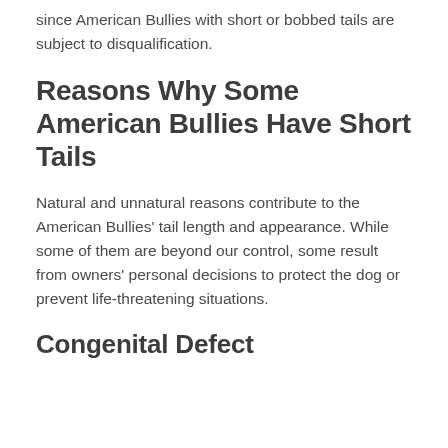since American Bullies with short or bobbed tails are subject to disqualification.
Reasons Why Some American Bullies Have Short Tails
Natural and unnatural reasons contribute to the American Bullies' tail length and appearance. While some of them are beyond our control, some result from owners' personal decisions to protect the dog or prevent life-threatening situations.
Congenital Defect